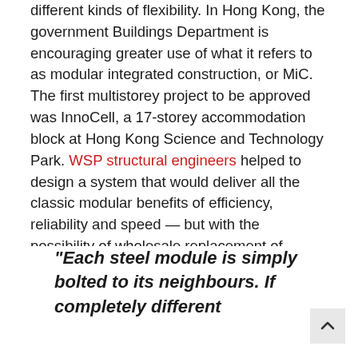different kinds of flexibility. In Hong Kong, the government Buildings Department is encouraging greater use of what it refers to as modular integrated construction, or MiC. The first multistorey project to be approved was InnoCell, a 17-storey accommodation block at Hong Kong Science and Technology Park. WSP structural engineers helped to design a system that would deliver all the classic modular benefits of efficiency, reliability and speed — but with the possibility of wholesale replacement of plugged-in elements.
"Each steel module is simply bolted to its neighbours. If completely different